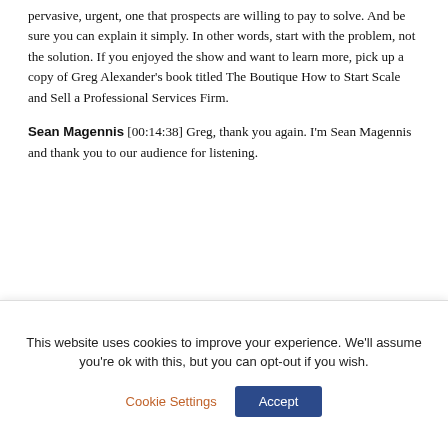pervasive, urgent, one that prospects are willing to pay to solve. And be sure you can explain it simply. In other words, start with the problem, not the solution. If you enjoyed the show and want to learn more, pick up a copy of Greg Alexander's book titled The Boutique How to Start Scale and Sell a Professional Services Firm.
Sean Magennis [00:14:38] Greg, thank you again. I'm Sean Magennis and thank you to our audience for listening.
[Figure (other): Three partially visible circular social media icon buttons (grey circles)]
This website uses cookies to improve your experience. We'll assume you're ok with this, but you can opt-out if you wish.
Cookie Settings   Accept